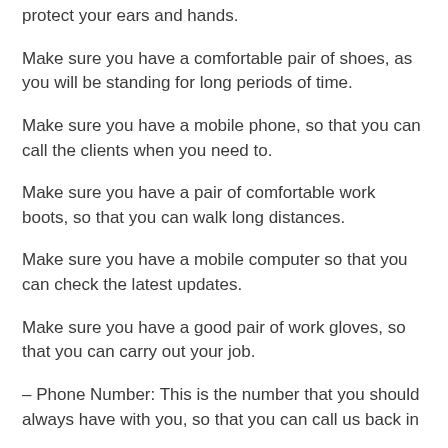protect your ears and hands.
Make sure you have a comfortable pair of shoes, as you will be standing for long periods of time.
Make sure you have a mobile phone, so that you can call the clients when you need to.
Make sure you have a pair of comfortable work boots, so that you can walk long distances.
Make sure you have a mobile computer so that you can check the latest updates.
Make sure you have a good pair of work gloves, so that you can carry out your job.
– Phone Number: This is the number that you should always have with you, so that you can call us back in